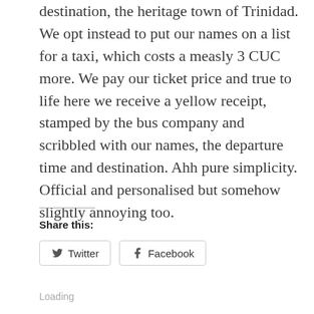its a 9 hour trip on the 'Good Seat' bus to our next destination, the heritage town of Trinidad. We opt instead to put our names on a list for a taxi, which costs a measly 3 CUC more. We pay our ticket price and true to life here we receive a yellow receipt, stamped by the bus company and scribbled with our names, the departure time and destination. Ahh pure simplicity. Official and personalised but somehow slightly annoying too.
Share this:
Twitter
Facebook
Loading